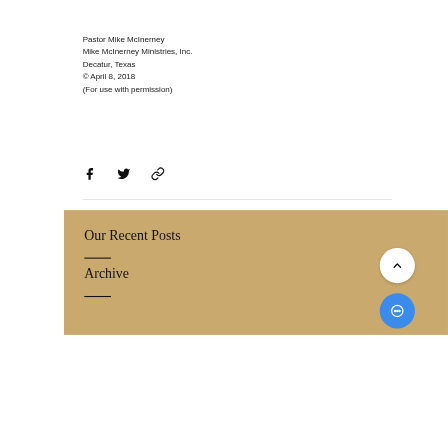Pastor Mike McInerney
Mike McInerney Ministries, Inc.
Decatur, Texas
© April 8, 2018
(For use with permission)
[Figure (other): Social media share icons: Facebook, Twitter, and link/copy icons]
Our Recent Posts
Archive